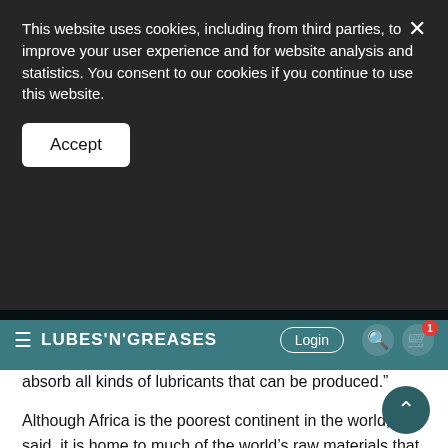This website uses cookies, including from third parties, to improve your user experience and for website analysis and statistics. You consent to our cookies if you continue to use this website.
Accept
LUBES'N'GREASES   Login
absorb all kinds of lubricants that can be produced."
Although Africa is the poorest continent in the world, he said, it is home to much of the world's raw materials that are in high demand, including in agriculture, mining, fishing, oil and gas.
"Developing sectors are banking, consumer goods, construction, telecommunications, manufacturing and electricity," he said. "Many, many power plants are being erected as we speak."
Africa's population has almost tripled in the past 40 years, to 1.3 billion today, he said. According to Kinanny, continent's biggest market advantage is its youth – 75 percent of Africans are below 25